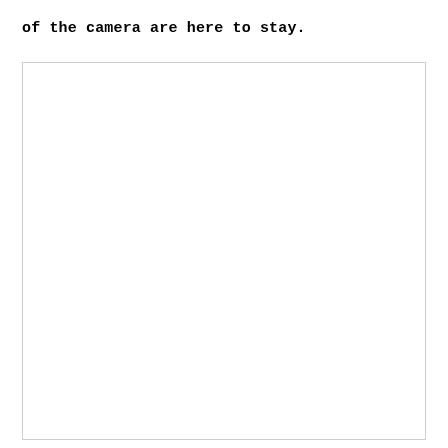of the camera are here to stay.
[Figure (other): Large empty white rectangular box with a thin light gray border, containing no visible content.]